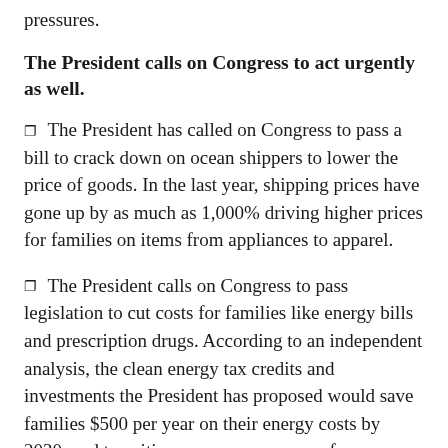pressures.
The President calls on Congress to act urgently as well.
The President has called on Congress to pass a bill to crack down on ocean shippers to lower the price of goods. In the last year, shipping prices have gone up by as much as 1,000% driving higher prices for families on items from appliances to apparel.
The President calls on Congress to pass legislation to cut costs for families like energy bills and prescription drugs. According to an independent analysis, the clean energy tax credits and investments the President has proposed would save families $500 per year on their energy costs by 2030, and transition our economy away from relying on energy produced by autocrats like Putin. And the President believes that Congress should give Medicare the power to negotiate with pharmaceutical companies, and that Congress